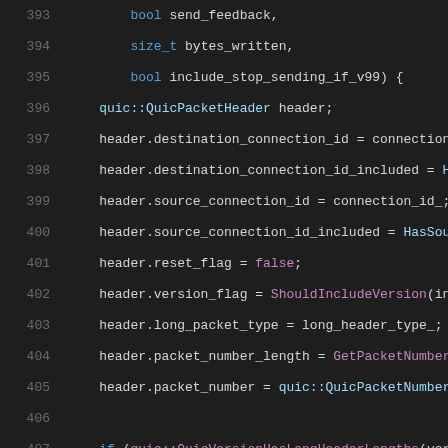[Figure (screenshot): Source code snippet showing C++ code lines 393-414 with syntax highlighting on dark background. Code sets up QUIC packet header fields and handles version-specific header lengths.]